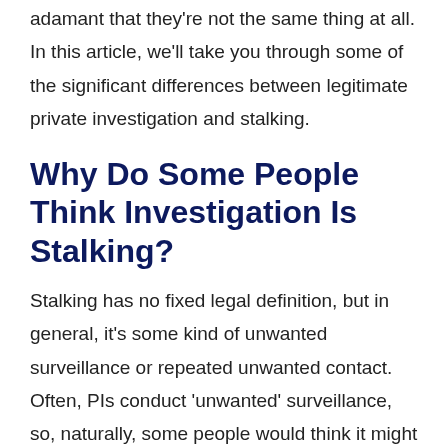adamant that they're not the same thing at all. In this article, we'll take you through some of the significant differences between legitimate private investigation and stalking.
Why Do Some People Think Investigation Is Stalking?
Stalking has no fixed legal definition, but in general, it's some kind of unwanted surveillance or repeated unwanted contact. Often, PIs conduct 'unwanted' surveillance, so, naturally, some people would think it might constitute stalking behaviour.
It's important to know that, while there could be an argument that surveillance is stalking, there are some key differences that separate the two.